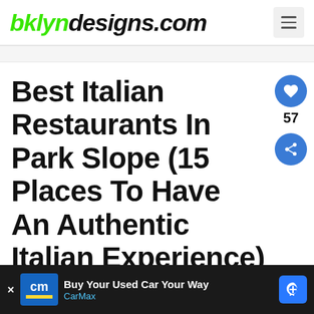bklyndesigns.com
Best Italian Restaurants In Park Slope (15 Places To Have An Authentic Italian Experience)
Park Slope is located within an area formerly known as South Brooklyn, and it is one of the best neighbourhoods to visit when...